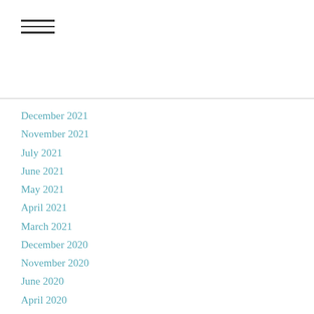December 2021
November 2021
July 2021
June 2021
May 2021
April 2021
March 2021
December 2020
November 2020
June 2020
April 2020
March 2020
January 2020
December 2019
November 2019
October 2019
September 2019